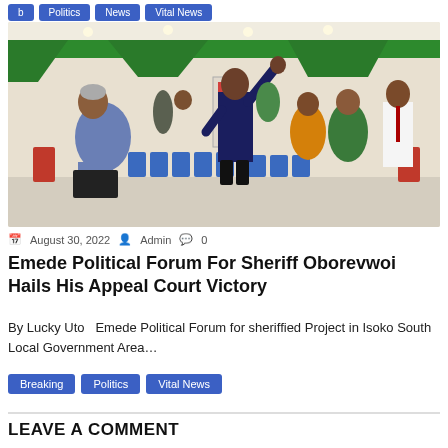Breaking | Politics | Vital News | ...
[Figure (photo): People in a hall with green decorations, one man in dark blue raising his hand, a woman kneeling, others standing and celebrating.]
August 30, 2022  Admin  0
Emede Political Forum For Sheriff Oborevwoi Hails His Appeal Court Victory
By Lucky Uto   Emede Political Forum for sheriffied Project in Isoko South Local Government Area…
Breaking
Politics
Vital News
LEAVE A COMMENT